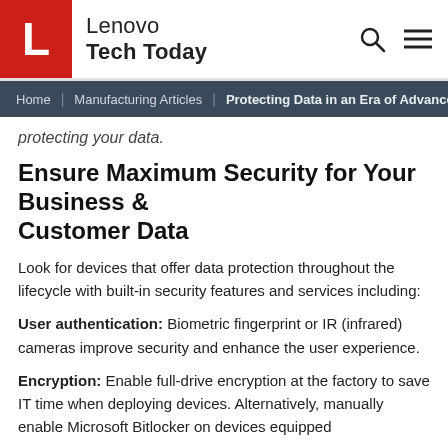L Lenovo Tech Today [search icon] [menu icon]
Home | Manufacturing Articles | Protecting Data in an Era of Advance...
protecting your data.
Ensure Maximum Security for Your Business & Customer Data
Look for devices that offer data protection throughout the lifecycle with built-in security features and services including:
User authentication: Biometric fingerprint or IR (infrared) cameras improve security and enhance the user experience.
Encryption: Enable full-drive encryption at the factory to save IT time when deploying devices. Alternatively, manually enable Microsoft Bitlocker on devices equipped